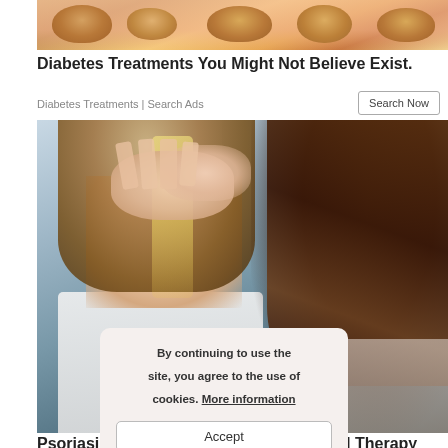[Figure (photo): Close-up photo of hands holding peanuts/cookies with skin-toned fingers]
Diabetes Treatments You Might Not Believe Exist.
Diabetes Treatments | Search Ads
[Figure (photo): Photo of a distressed woman with hands on her head looking in a mirror, another person visible from behind on the right]
By continuing to use the site, you agree to the use of cookies. More information
Accept
Psoriasis Biological Treatment - Targeted Therapy